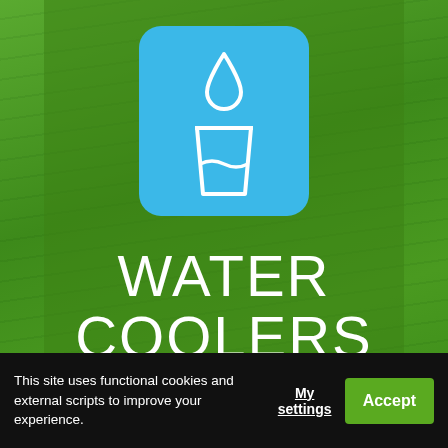[Figure (illustration): Blue rounded square icon containing a white water glass with a water drop above it, on a green background with semi-transparent panel]
WATER COOLERS
A full range of water coolers to suit the needs of your business.
This site uses functional cookies and external scripts to improve your experience.
My settings
Accept